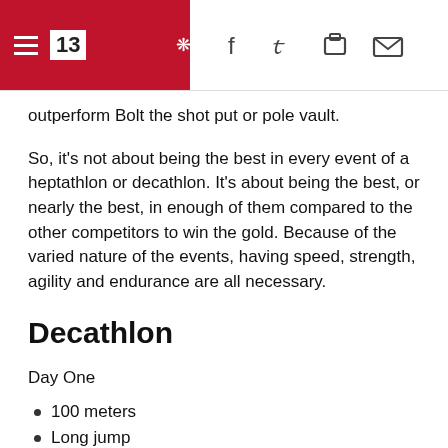13 WTHR
outperform Bolt the shot put or pole vault.
So, it's not about being the best in every event of a heptathlon or decathlon. It's about being the best, or nearly the best, in enough of them compared to the other competitors to win the gold. Because of the varied nature of the events, having speed, strength, agility and endurance are all necessary.
Decathlon
Day One
100 meters
Long jump
Shot put
High jump